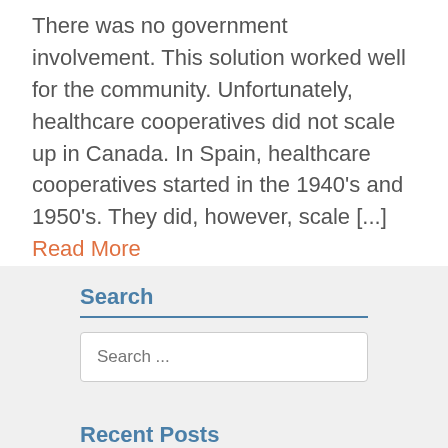There was no government involvement. This solution worked well for the community. Unfortunately, healthcare cooperatives did not scale up in Canada. In Spain, healthcare cooperatives started in the 1940's and 1950's. They did, however, scale [...] Read More
Search
Search ...
Recent Posts